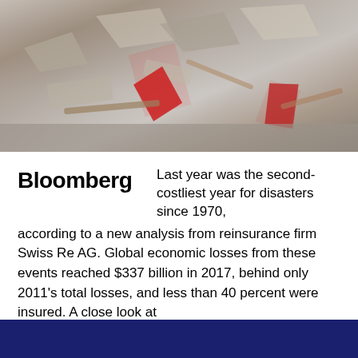[Figure (photo): Photograph of debris and rubble from a disaster scene, showing broken materials, wood, plastic, and red-colored fragments scattered across a destroyed area.]
Bloomberg  Last year was the second-costliest year for disasters since 1970, according to a new analysis from reinsurance firm Swiss Re AG. Global economic losses from these events reached $337 billion in 2017, behind only 2011's total losses, and less than 40 percent were insured. A close look at